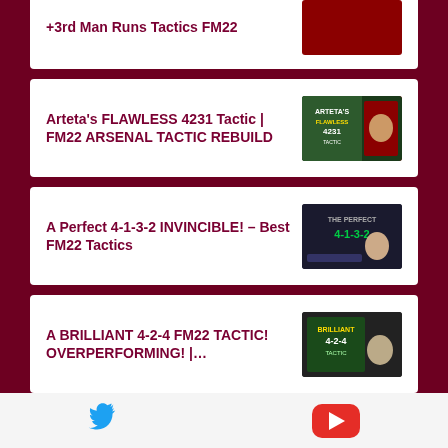+3rd Man Runs Tactics FM22
Arteta's FLAWLESS 4231 Tactic | FM22 ARSENAL TACTIC REBUILD
A Perfect 4-1-3-2 INVINCIBLE! – Best FM22 Tactics
A BRILLIANT 4-2-4 FM22 TACTIC! OVERPERFORMING! |…
THE PERFECT FM22 G…
[Figure (logo): Twitter bird icon in blue]
[Figure (logo): YouTube play button icon in red]